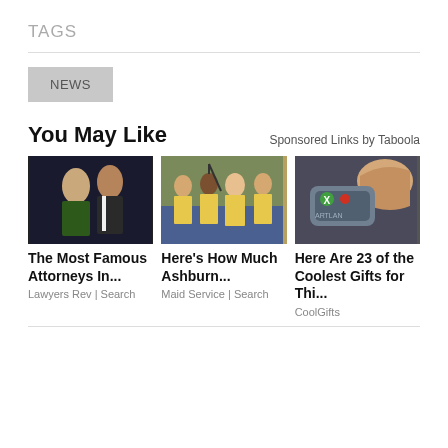TAGS
NEWS
You May Like
Sponsored Links by Taboola
[Figure (photo): Celebrity couple in formal attire]
The Most Famous Attorneys In...
Lawyers Rev | Search
[Figure (photo): Group of cleaning service workers in yellow uniforms]
Here's How Much Ashburn...
Maid Service | Search
[Figure (photo): Person touching a small electronic device/gadget]
Here Are 23 of the Coolest Gifts for Thi...
CoolGifts